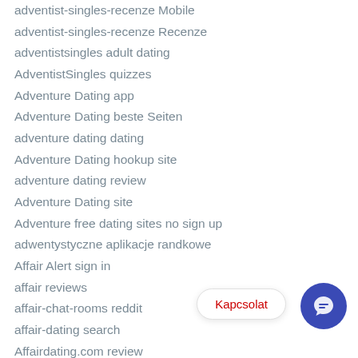adventist-singles-recenze Mobile
adventist-singles-recenze Recenze
adventistsingles adult dating
AdventistSingles quizzes
Adventure Dating app
Adventure Dating beste Seiten
adventure dating dating
Adventure Dating hookup site
adventure dating review
Adventure Dating site
Adventure free dating sites no sign up
adwentystyczne aplikacje randkowe
Affair Alert sign in
affair reviews
affair-chat-rooms reddit
affair-dating search
Affairdating.com review
AffairsClub useful content
affordable payday loans
africa-chat-room review